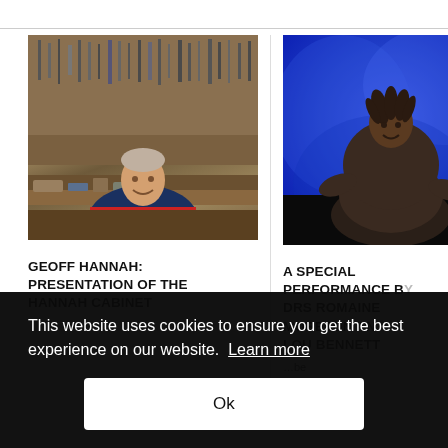[Figure (photo): Older man smiling in a woodworking workshop with tools on the wall behind him]
GEOFF HANNAH: PRESENTATION OF THE HANNAH CABINET
[Figure (photo): Person performing on stage in front of a blue background]
A SPECIAL PERFORMANCE BY DRS ROMAINE MORETON AND LOU BENNETT
This website uses cookies to ensure you get the best experience on our website. Learn more
Ok